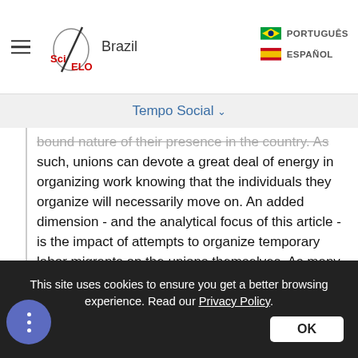SciELO Brazil — PORTUGUÊS / ESPAÑOL
Tempo Social
bound nature of their presence in the country. As such, unions can devote a great deal of energy in organizing work knowing that the individuals they organize will necessarily move on. An added dimension - and the analytical focus of this article - is the impact of attempts to organize temporary labor migrants on the unions themselves. As many scholars have noted (see, for example, Briskin, 2008; Lucio & Perrett, 2009b; Mrozowicki & Trawińska, 2012), engaging with non-traditional constituencies often pushes unions to adopt new strategies, which can in some
This site uses cookies to ensure you get a better browsing experience. Read our Privacy Policy.